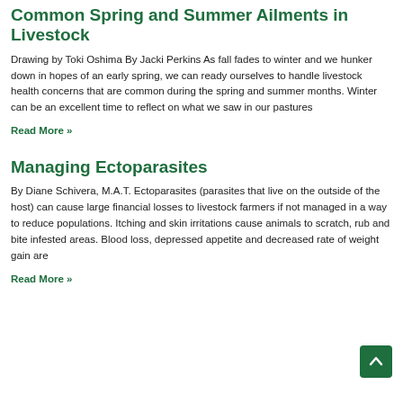Common Spring and Summer Ailments in Livestock
Drawing by Toki Oshima By Jacki Perkins As fall fades to winter and we hunker down in hopes of an early spring, we can ready ourselves to handle livestock health concerns that are common during the spring and summer months. Winter can be an excellent time to reflect on what we saw in our pastures
Read More »
Managing Ectoparasites
By Diane Schivera, M.A.T. Ectoparasites (parasites that live on the outside of the host) can cause large financial losses to livestock farmers if not managed in a way to reduce populations. Itching and skin irritations cause animals to scratch, rub and bite infested areas. Blood loss, depressed appetite and decreased rate of weight gain are
Read More »